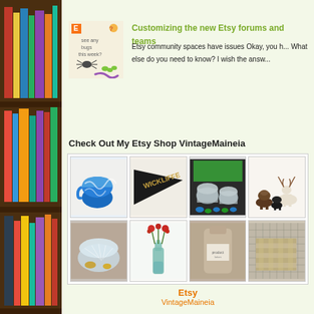[Figure (photo): Left sidebar showing a tall bookshelf with colorful books arranged vertically]
[Figure (photo): Thumbnail image of blog post about Etsy bugs with cartoon insects]
Customizing the new Etsy forums and teams
Etsy community spaces have issues Okay, you h... What else do you need to know? I wish the answ...
Check Out My Etsy Shop VintageMaineia
[Figure (photo): Grid of 8 Etsy shop product photos: blue/white ceramic mug, Wickliffe pennant, glass candle holders, deer figurines, cut glass bowl, glass bottle with red flowers, lotion bottle, woven box]
Etsy
VintageMaineia